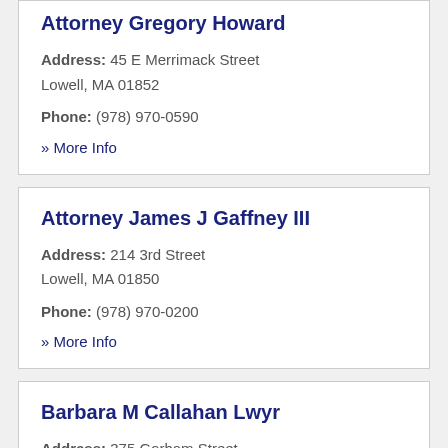Attorney Gregory Howard
Address: 45 E Merrimack Street Lowell, MA 01852
Phone: (978) 970-0590
» More Info
Attorney James J Gaffney III
Address: 214 3rd Street Lowell, MA 01850
Phone: (978) 970-0200
» More Info
Barbara M Callahan Lwyr
Address: 375 Gorham Street